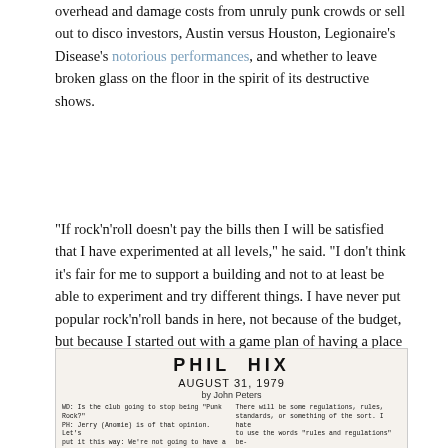overhead and damage costs from unruly punk crowds or sell out to disco investors, Austin versus Houston, Legionaire's Disease's notorious performances, and whether to leave broken glass on the floor in the spirit of its destructive shows.
“If rock’n’roll doesn’t pay the bills then I will be satisfied that I have experimented at all levels,” he said. “I don't think it’s fair for me to support a building and not to at least be able to experiment and try different things. I have never put popular rock’n’roll bands in here, not because of the budget, but because I started out with a game plan of having a place so that unexposed talent or bands could come in here, so they would have a place to play in front of people and could get a start. Momentumwise [sic], emotionally – so they could get out of their practice room.”
[Figure (photo): Scanned document titled 'PHIL HIX' dated August 31, 1979 by John Peters, showing a two-column interview transcript in typewriter font.]